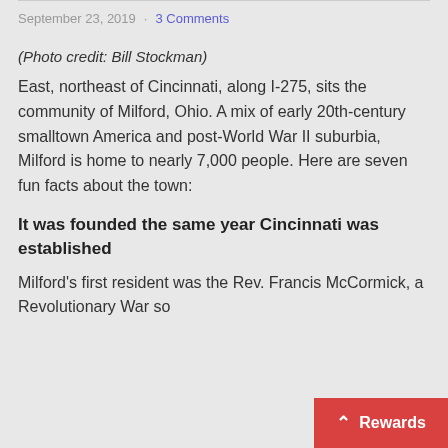September 23, 2019 · 3 Comments
(Photo credit: Bill Stockman)
East, northeast of Cincinnati, along I-275, sits the community of Milford, Ohio. A mix of early 20th-century smalltown America and post-World War II suburbia, Milford is home to nearly 7,000 people. Here are seven fun facts about the town:
It was founded the same year Cincinnati was established
Milford's first resident was the Rev. Francis McCormick, a Revolutionary War so